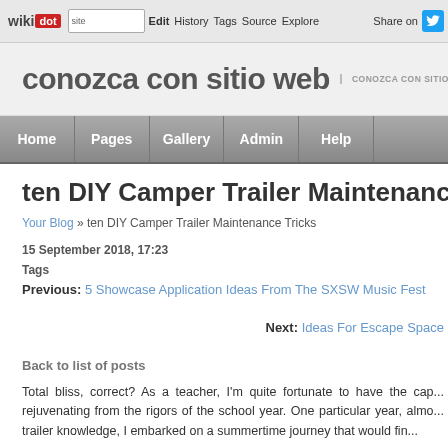wiki dot | site | Edit | History | Tags | Source | Explore | Share on [Twitter]
conozca con sitio web | CONOZCA CON SITIO WEB
Home | Pages | Gallery | Admin | Help
ten DIY Camper Trailer Maintenance Tric...
Your Blog » ten DIY Camper Trailer Maintenance Tricks
15 September 2018, 17:23
Tags
Previous: 5 Showcase Application Ideas From The SXSW Music Fest...
Next: Ideas For Escape Space...
Back to list of posts
Total bliss, correct? As a teacher, I'm quite fortunate to have the cap... rejuvenating from the rigors of the school year. One particular year, almo... trailer knowledge, I embarked on a summertime journey that would fin...